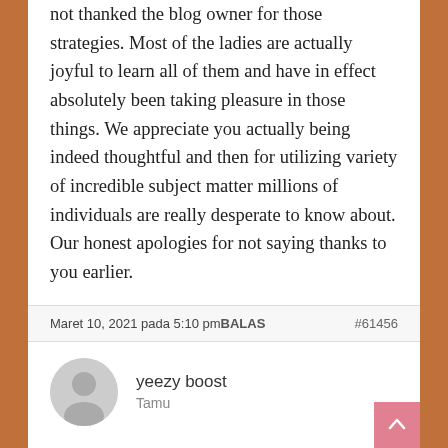not thanked the blog owner for those strategies. Most of the ladies are actually joyful to learn all of them and have in effect absolutely been taking pleasure in those things. We appreciate you actually being indeed thoughtful and then for utilizing variety of incredible subject matter millions of individuals are really desperate to know about. Our honest apologies for not saying thanks to you earlier.
Maret 10, 2021 pada 5:10 pmBALAS #61456
yeezy boost
Tamu
I really wanted to jot down a message in order to say thanks to you for some of the precious guides you are giving on this website. My rather long internet investigation has at the end of the day been rewarded